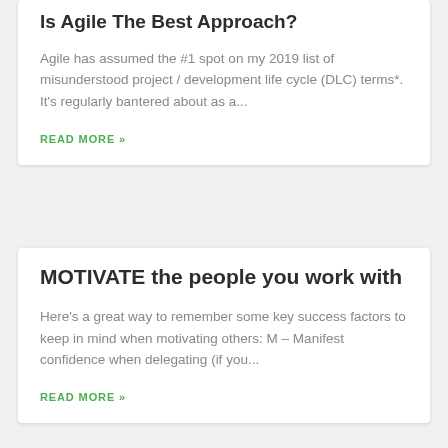Is Agile The Best Approach?
Agile has assumed the #1 spot on my 2019 list of misunderstood project / development life cycle (DLC) terms*. It's regularly bantered about as a...
READ MORE »
MOTIVATE the people you work with
Here's a great way to remember some key success factors to keep in mind when motivating others: M – Manifest confidence when delegating (if you...
READ MORE »